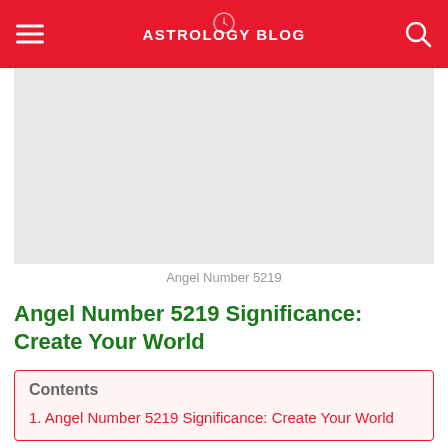ASTROLOGY BLOG
[Figure (photo): Light gray placeholder image for Angel Number 5219]
Angel Number 5219
Angel Number 5219 Significance: Create Your World
Contents
1. Angel Number 5219 Significance: Create Your World